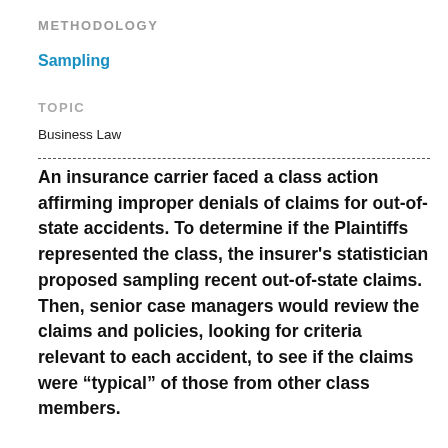METHODOLOGY
Sampling
TOPIC
Business Law
An insurance carrier faced a class action affirming improper denials of claims for out-of-state accidents. To determine if the Plaintiffs represented the class, the insurer's statistician proposed sampling recent out-of-state claims. Then, senior case managers would review the claims and policies, looking for criteria relevant to each accident, to see if the claims were “typical” of those from other class members.